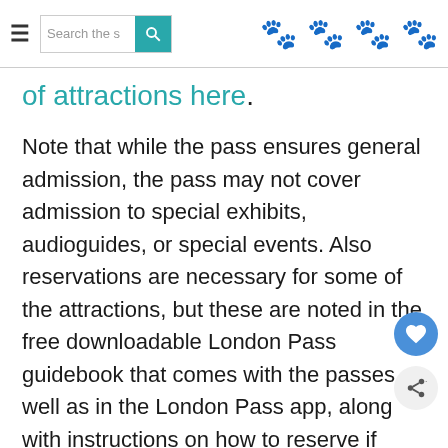Search the s [search button] [paw icons x4]
of attractions here.
Note that while the pass ensures general admission, the pass may not cover admission to special exhibits, audioguides, or special events. Also reservations are necessary for some of the attractions, but these are noted in the free downloadable London Pass guidebook that comes with the passes as well as in the London Pass app, along with instructions on how to reserve if necessary.